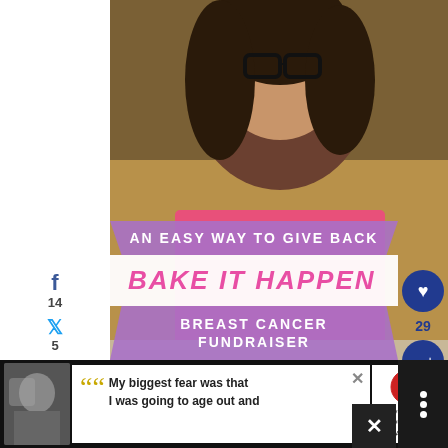[Figure (photo): Young girl with glasses wearing a pink shirt, holding a plate of chocolate chip cookies, smiling at the camera]
f
14
5
6
yum
25
SHARES
AN EASY WAY TO GIVE BACK
BAKE IT HAPPEN
BREAST CANCER FUNDRAISER
www.themamamaven.com
[Figure (photo): Advertisement banner at bottom: Dave Thomas Foundation for Adoption ad with person in winter hat and quote text 'My biggest fear was that I was going to age out and']